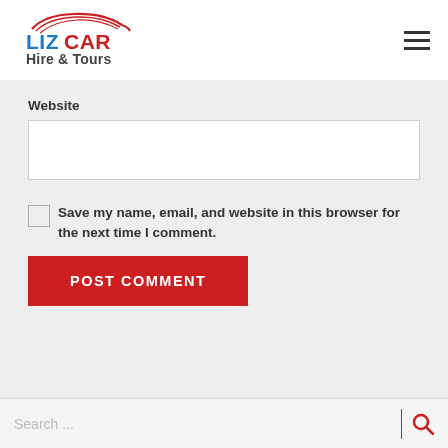[Figure (logo): LIZCAR Hire & Tours logo with red car silhouette graphic and blue/red/dark text]
Website
Save my name, email, and website in this browser for the next time I comment.
POST COMMENT
Search ...